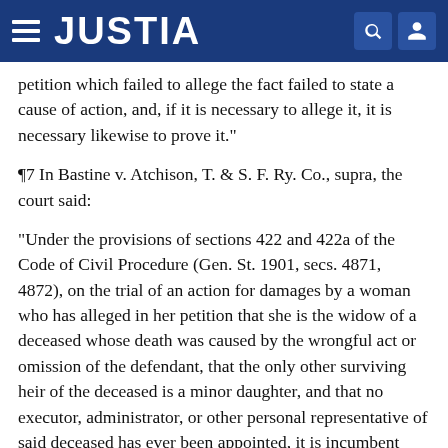JUSTIA
petition which failed to allege the fact failed to state a cause of action, and, if it is necessary to allege it, it is necessary likewise to prove it."
¶7 In Bastine v. Atchison, T. & S. F. Ry. Co., supra, the court said:
"Under the provisions of sections 422 and 422a of the Code of Civil Procedure (Gen. St. 1901, secs. 4871, 4872), on the trial of an action for damages by a woman who has alleged in her petition that she is the widow of a deceased whose death was caused by the wrongful act or omission of the defendant, that the only other surviving heir of the deceased is a minor daughter, and that no executor, administrator, or other personal representative of said deceased has ever been appointed, it is incumbent upon the plaintiff, the defendant having denied these allegations, to prove...